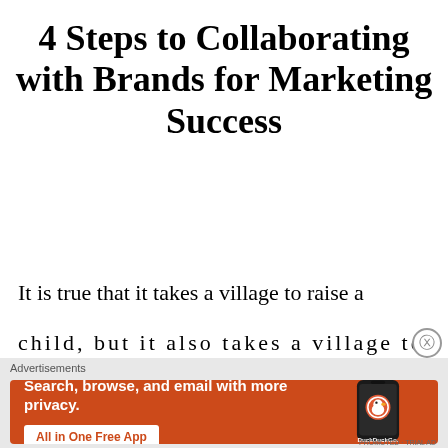4 Steps to Collaborating with Brands for Marketing Success
It is true that it takes a village to raise a
child, but it also takes a village to build...
[Figure (screenshot): DuckDuckGo advertisement banner with orange background. Text reads 'Search, browse, and email with more privacy. All in One Free App'. Shows a smartphone with the DuckDuckGo duck logo. Label reads 'Advertisements'.]